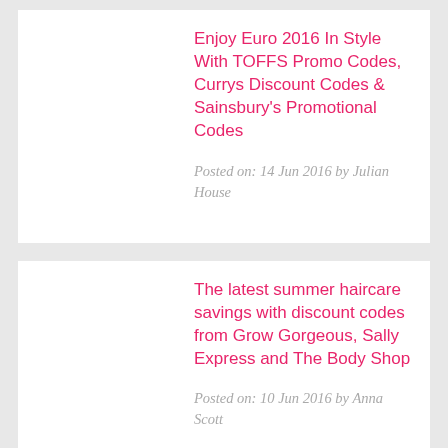Enjoy Euro 2016 In Style With TOFFS Promo Codes, Currys Discount Codes & Sainsbury's Promotional Codes
Posted on: 14 Jun 2016 by Julian House
The latest summer haircare savings with discount codes from Grow Gorgeous, Sally Express and The Body Shop
Posted on: 10 Jun 2016 by Anna Scott